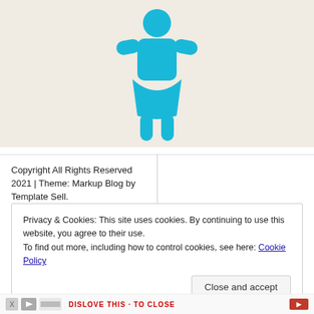[Figure (illustration): A cyan/turquoise flat icon of a female person (stick figure with skirt) on a beige/cream background]
Copyright All Rights Reserved 2021 | Theme: Markup Blog by Template Sell.
Privacy & Cookies: This site uses cookies. By continuing to use this website, you agree to their use.
To find out more, including how to control cookies, see here: Cookie Policy
Close and accept